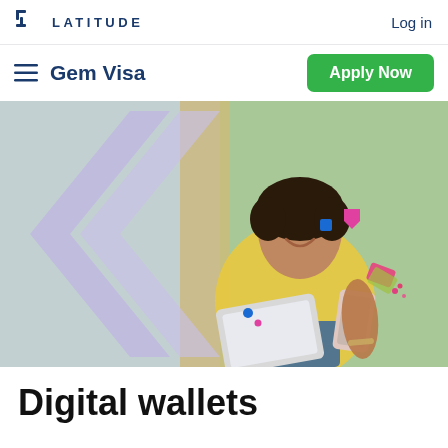LATITUDE   Log in
Gem Visa
[Figure (photo): Woman in yellow shirt smiling, sitting with a tablet and smartphone, large purple/lavender chevron graphic overlay on the left side of the image, small colorful confetti-like icons scattered around]
Digital wallets